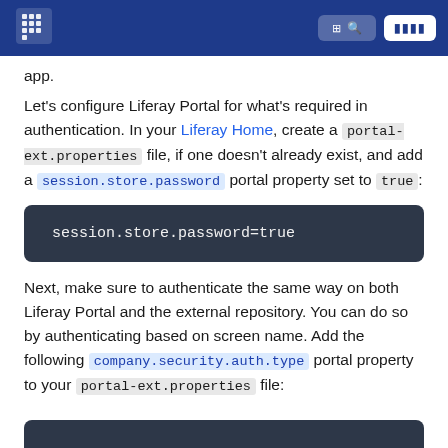Liferay documentation site header with logo, search button, and signup button
app.
Let's configure Liferay Portal for what's required in authentication. In your Liferay Home, create a portal-ext.properties file, if one doesn't already exist, and add a session.store.password portal property set to true:
Next, make sure to authenticate the same way on both Liferay Portal and the external repository. You can do so by authenticating based on screen name. Add the following company.security.auth.type portal property to your portal-ext.properties file: